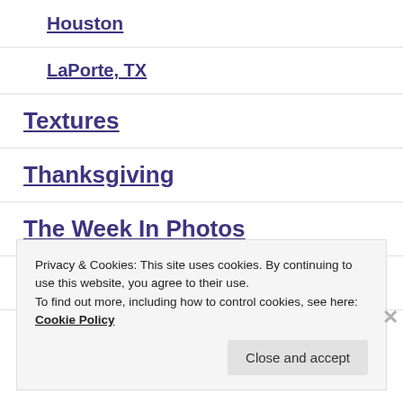Houston
LaPorte, TX
Textures
Thanksgiving
The Week In Photos
Thor
Privacy & Cookies: This site uses cookies. By continuing to use this website, you agree to their use.
To find out more, including how to control cookies, see here: Cookie Policy